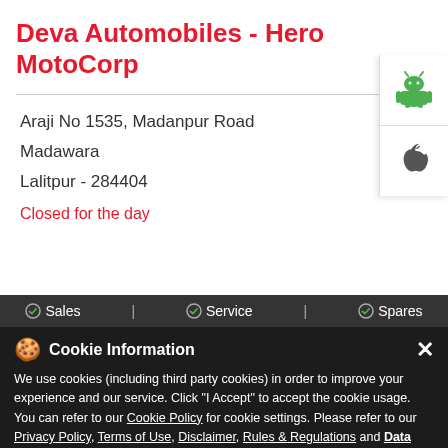Deva Automobiles - Hero MotoCorp
Araji No 1535, Madanpur Road
Madawara
Lalitpur - 284404
Closed for the day
[Figure (screenshot): Bottom navigation bar showing Sales, Service, Spares with checkmark icons on dark background]
[Figure (screenshot): Cookie Information overlay popup on dark background with text about cookies and privacy policy links, I Accept button]
[Figure (screenshot): App store icons for Android and Apple on right side panel]